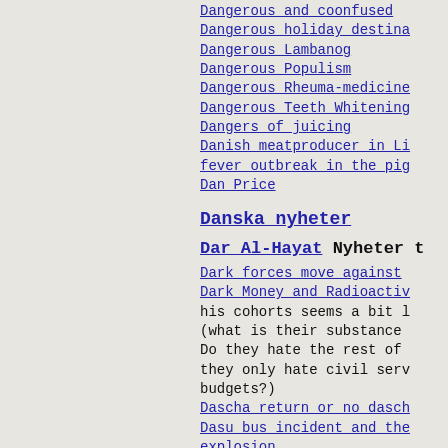Dangerous and coonfused
Dangerous holiday destina
Dangerous Lambanog
Dangerous Populism
Dangerous Rheuma-medicine
Dangerous Teeth Whitening
Dangers of juicing
Danish meatproducer in Li fever outbreak in the pig
Dan Price
Danska nyheter
Dar Al-Hayat  Nyheter t
Dark forces move against
Dark Money and Radioactiv
his cohorts seems a bit l (what is their substance Do they hate the rest of they only hate civil serv budgets?)
Dascha return or no dasch
Dasu bus incident and the explosion